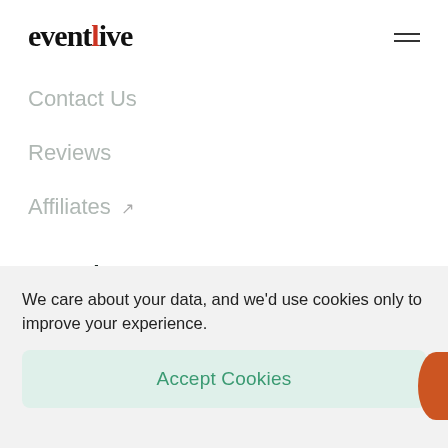eventlive
Contact Us
Reviews
Affiliates ↗
Overview
Pricing
FAQs
We care about your data, and we'd use cookies only to improve your experience.
Accept Cookies